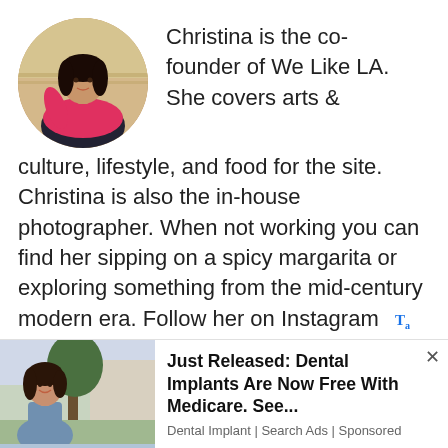[Figure (photo): Circular profile photo of Christina, a woman wearing a pink/red jacket over a dark patterned top, standing outdoors]
Christina is the co-founder of We Like LA. She covers arts & culture, lifestyle, and food for the site. Christina is also the in-house photographer. When not working you can find her sipping on a spicy margarita or exploring something from the mid-century modern era. Follow her on Instagram @Chrissy.Stardust
[Figure (photo): Ad photo of a smiling woman in a blue/grey top standing outdoors near a tree and building]
Just Released: Dental Implants Are Now Free With Medicare. See... Dental Implant | Search Ads | Sponsored